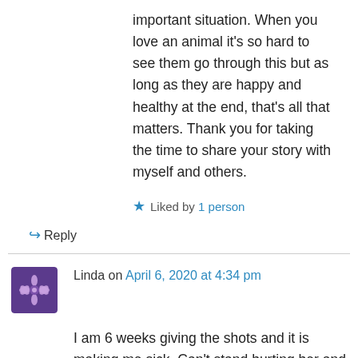important situation. When you love an animal it's so hard to see them go through this but as long as they are happy and healthy at the end, that's all that matters. Thank you for taking the time to share your story with myself and others.
★ Liked by 1 person
↳ Reply
Linda on April 6, 2020 at 4:34 pm
I am 6 weeks giving the shots and it is making me sick. Can't stand hurting her and some times but few go well others she turns as if to bite me. I do not have anyone to help and it is breaking my heart. I was told to try icing it but haven't figured out how to do that. We can't get her levels